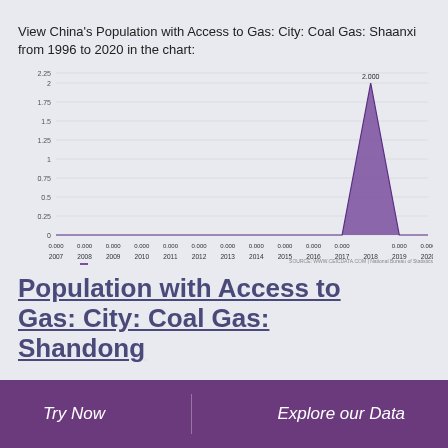View China's Population with Access to Gas: City: Coal Gas: Shaanxi from 1996 to 2020 in the chart:
[Figure (area-chart): CN: Population with Access to Gas: City: Coal Gas: Shaanxi]
Population with Access to Gas: City: Coal Gas: Shandong
1996 - 2020 | YEARLY | PERSON TH | NATIONAL BUREAU OF STATISTICS